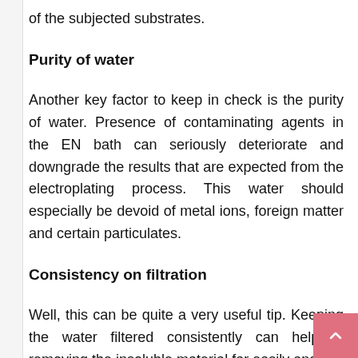of the subjected substrates.
Purity of water
Another key factor to keep in check is the purity of water. Presence of contaminating agents in the EN bath can seriously deteriorate and downgrade the results that are expected from the electroplating process. This water should especially be devoid of metal ions, foreign matter and certain particulates.
Consistency on filtration
Well, this can be quite a very useful tip. Keeping the water filtered consistently can help in removing the insoluble material far easily and